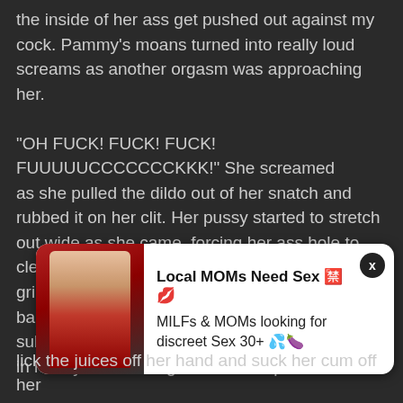the inside of her ass get pushed out against my cock. Pammy's moans turned into really loud screams as another orgasm was approaching her.

"OH FUCK! FUCK! FUCK! FUUUUUCCCCCCCKKK!" She screamed as she pulled the dildo out of her snatch and rubbed it on her clit. Her pussy started to stretch out wide as she came, forcing her ass hole to clench tight around my cock. Her ass hole had gripped my cock so hard, I couldn't pull my cock back, I just stayed in this position as her orgasm subsided. Pammy looked at me with a dirty look in her eyes and bought the dildo up
[Figure (photo): Advertisement overlay with photo of woman in red outfit, text: Local MOMs Need Sex, MILFs & MOMs looking for discreet Sex 30+]
lick the juices off her hand and suck her cum off her